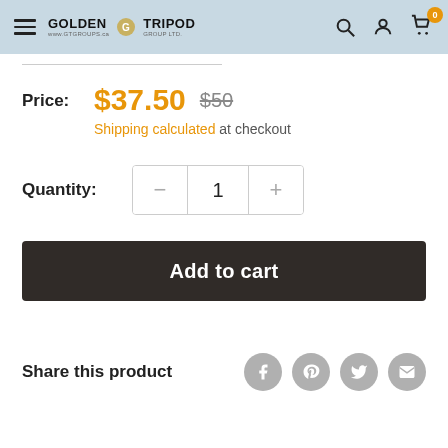Golden Tripod Group Ltd. navigation header with logo, search, account, and cart icons
Price: $37.50 $50
Shipping calculated at checkout
Quantity: 1
Add to cart
Share this product